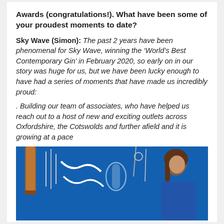Awards (congratulations!). What have been some of your proudest moments to date?
Sky Wave (Simon): The past 2 years have been phenomenal for Sky Wave, winning the ‘World’s Best Contemporary Gin’ in February 2020, so early on in our story was huge for us, but we have been lucky enough to have had a series of moments that have made us incredibly proud:
. Building our team of associates, who have helped us reach out to a host of new and exciting outlets across Oxfordshire, the Cotswolds and further afield and it is growing at a pace
[Figure (photo): Photo of a woman working with distillery equipment (copper still, tubes, glass vessels) against a bright blue background]